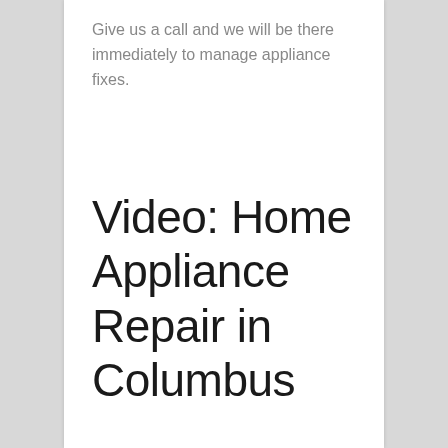Give us a call and we will be there immediately to manage appliance fixes.
Video: Home Appliance Repair in Columbus